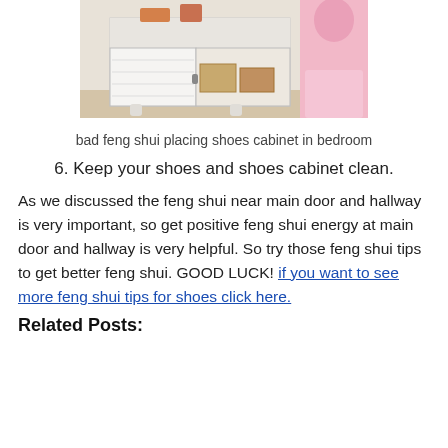[Figure (photo): A white shoe cabinet with one door open, showing storage boxes inside. A pink dress or clothing is visible on the right side.]
bad feng shui placing shoes cabinet in bedroom
6. Keep your shoes and shoes cabinet clean.
As we discussed the feng shui near main door and hallway is very important, so get positive feng shui energy at main door and hallway is very helpful. So try those feng shui tips to get better feng shui. GOOD LUCK!  if you want to see more feng shui tips for shoes click here.
Related Posts: